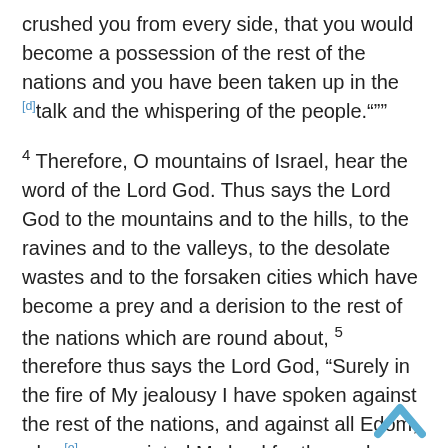crushed you from every side, that you would become a possession of the rest of the nations and you have been taken up in the [d]talk and the whispering of the people."""
4 Therefore, O mountains of Israel, hear the word of the Lord God. Thus says the Lord God to the mountains and to the hills, to the ravines and to the valleys, to the desolate wastes and to the forsaken cities which have become a prey and a derision to the rest of the nations which are round about, 5 therefore thus says the Lord God, “Surely in the fire of My jealousy I have spoken against the rest of the nations, and against all Edom, who [e]appropriated My land for themselves as a possession with wholehearted joy and with scorn of soul, to drive it out for a prey.” 6 Therefore prophesy concerning the land